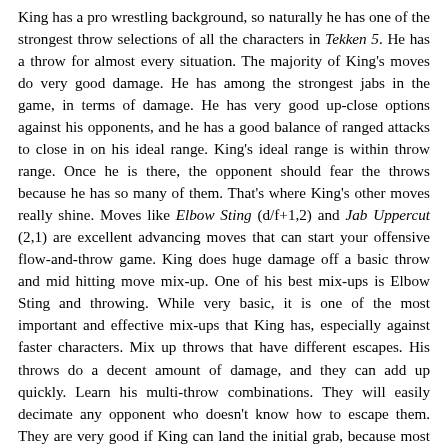King has a pro wrestling background, so naturally he has one of the strongest throw selections of all the characters in Tekken 5. He has a throw for almost every situation. The majority of King's moves do very good damage. He has among the strongest jabs in the game, in terms of damage. He has very good up-close options against his opponents, and he has a good balance of ranged attacks to close in on his ideal range. King's ideal range is within throw range. Once he is there, the opponent should fear the throws because he has so many of them. That's where King's other moves really shine. Moves like Elbow Sting (d/f+1,2) and Jab Uppercut (2,1) are excellent advancing moves that can start your offensive flow-and-throw game. King does huge damage off a basic throw and mid hitting move mix-up. One of his best mix-ups is Elbow Sting and throwing. While very basic, it is one of the most important and effective mix-ups that King has, especially against faster characters. Mix up throws that have different escapes. His throws do a decent amount of damage, and they can add up quickly. Learn his multi-throw combinations. They will easily decimate any opponent who doesn't know how to escape them. They are very good if King can land the initial grab, because most of his throws have different options for throw escapes.
King lacks a solid juggle starter. His primary one, the Hop Kick (u/f+4), does not have the desired range and is not completely safe when blocked. Also, a lot of King's moves can be sidestepped and whiffed, leaving him open to a counterhit that sends him into a juggle.